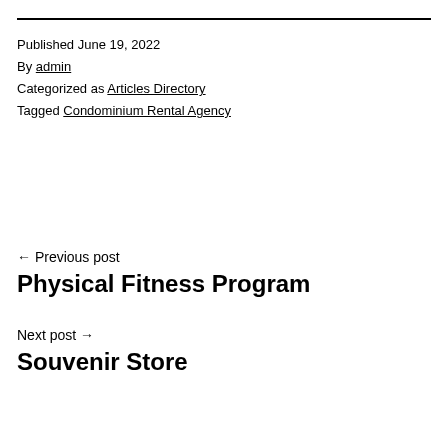Published June 19, 2022
By admin
Categorized as Articles Directory
Tagged Condominium Rental Agency
← Previous post
Physical Fitness Program
Next post →
Souvenir Store